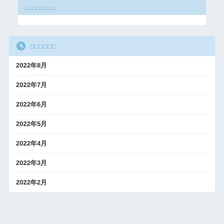□□□□□□□□
□□□□□□
2022年8月
2022年7月
2022年6月
2022年5月
2022年4月
2022年3月
2022年2月